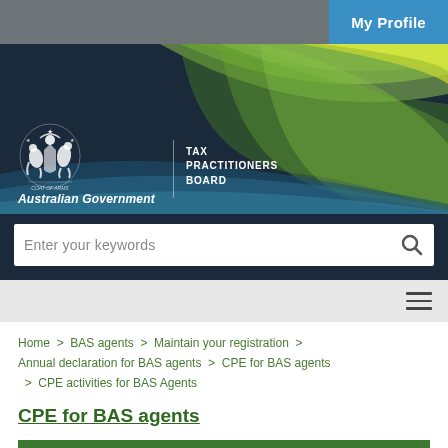[Figure (screenshot): Australian Government Tax Practitioners Board website header with coat of arms, logo, decorative curves, search bar, and navigation]
Home > BAS agents > Maintain your registration > Annual declaration for BAS agents > CPE for BAS agents > CPE activities for BAS Agents
CPE for BAS agents
CPE activities